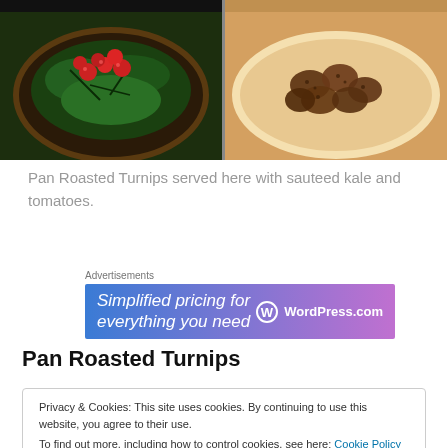[Figure (photo): Two food photos side by side: left shows pan with sauteed kale and cherry tomatoes, right shows pan roasted turnips on a plate]
Pan Roasted Turnips served here with sauteed kale and tomatoes.
[Figure (screenshot): WordPress.com advertisement banner: 'Simplified pricing for everything you need' with WordPress.com logo]
Pan Roasted Turnips
Privacy & Cookies: This site uses cookies. By continuing to use this website, you agree to their use.
To find out more, including how to control cookies, see here: Cookie Policy
4 Tbsp Red Wine Vinegar